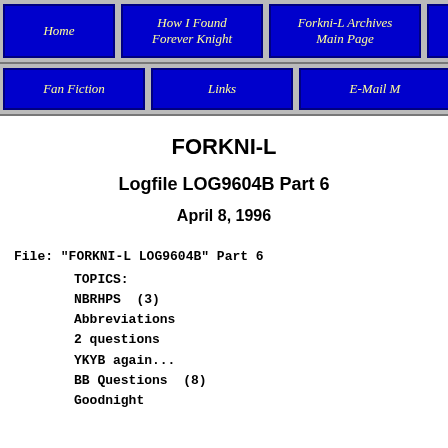Home | How I Found Forever Knight | Forkni-L Archives Main Page | For- | Fan Fiction | Links | E-Mail M
FORKNI-L
Logfile LOG9604B Part 6
April 8, 1996
File: "FORKNI-L LOG9604B" Part 6
TOPICS:
NBRHPS  (3)
Abbreviations
2 questions
YKYB again...
BB Questions  (8)
Goodnight